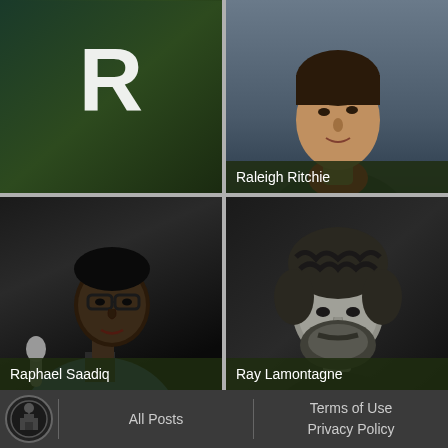[Figure (photo): Top-left cell showing large R letter on dark green gradient background]
[Figure (photo): Top-right cell showing Raleigh Ritchie, a young man in red and dark jacket, photo against grey background]
Raleigh Ritchie
[Figure (photo): Bottom-left cell showing Raphael Saadiq, a Black man wearing glasses and blue jacket, holding a microphone, looking upward]
Raphael Saadiq
[Figure (photo): Bottom-right cell showing Ray Lamontagne, a bearded white man with curly hair, black and white photo]
Ray Lamontagne
All Posts   Terms of Use   Privacy Policy